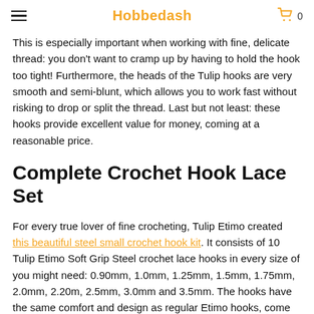Hobbedash
This is especially important when working with fine, delicate thread: you don't want to cramp up by having to hold the hook too tight! Furthermore, the heads of the Tulip hooks are very smooth and semi-blunt, which allows you to work fast without risking to drop or split the thread. Last but not least: these hooks provide excellent value for money, coming at a reasonable price.
Complete Crochet Hook Lace Set
For every true lover of fine crocheting, Tulip Etimo created this beautiful steel small crochet hook kit. It consists of 10 Tulip Etimo Soft Grip Steel crochet lace hooks in every size of you might need: 0.90mm, 1.0mm, 1.25mm, 1.5mm, 1.75mm, 2.0mm, 2.20m, 2.5mm, 3.0mm and 3.5mm. The hooks have the same comfort and design as regular Etimo hooks, come